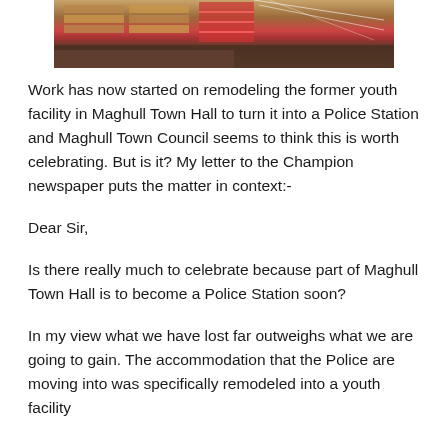[Figure (photo): Partial photo showing construction/remodeling work area with wooden pallets, red fencing, and scaffolding near a building exterior]
Work has now started on remodeling the former youth facility in Maghull Town Hall to turn it into a Police Station and Maghull Town Council seems to think this is worth celebrating. But is it? My letter to the Champion newspaper puts the matter in context:-
Dear Sir,
Is there really much to celebrate because part of Maghull Town Hall is to become a Police Station soon?
In my view what we have lost far outweighs what we are going to gain. The accommodation that the Police are moving into was specifically remodeled into a youth facility